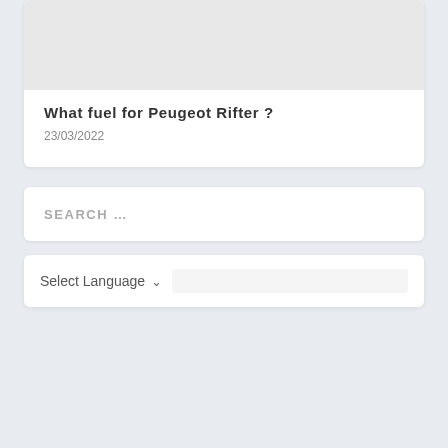[Figure (photo): Gray placeholder image at top of card]
What fuel for Peugeot Rifter ?
23/03/2022
SEARCH ...
Select Language